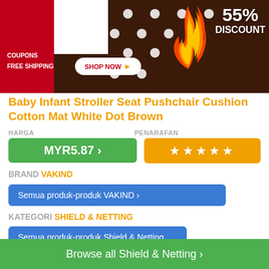[Figure (photo): Product banner showing brown polka dot cushion with red background, coupon/free shipping text, SHOP NOW button, and 55% DISCOUNT badge with flame graphics]
Baby Infant Stroller Seat Pushchair Cushion Cotton Mat White Dot Brown
HARGA
PENARAFAN
MYR5.87 ›
★★★★★
BRAND VAKIND
Semua produk-produk VAKIND ›
KATEGORI SHIELD & NETTING
Semua produk-produk Shield & Netting
Browse all Shield & Netting ›